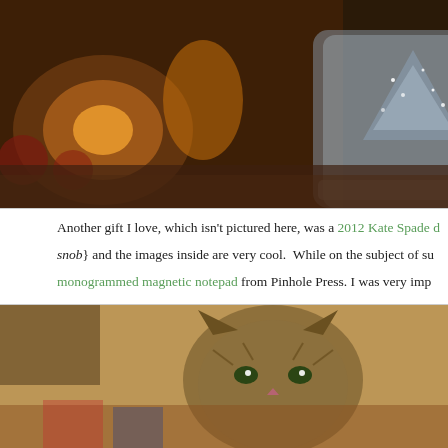[Figure (photo): Christmas decorations in mason jars with glitter trees and a snowman figurine, warm amber lighting]
Another gift I love, which isn't pictured here, was a 2012 Kate Spade d... {snob} and the images inside are very cool.  While on the subject of su... monogrammed magnetic notepad from Pinhole Press. I was very imp... covers the entire back of the pad.
This was our first Christmas with our new kitty {more on her soon} a... with attacking my beloved ornaments and drinking the Christmas tre...
[Figure (photo): Close-up photo of a grey tabby kitten sitting among Christmas gifts and wrapping paper]
[Figure (photo): Christmas tree branches with colorful ornament lights in dark blue tones]